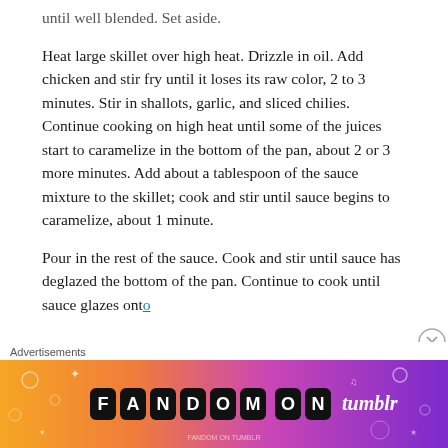until well blended. Set aside.
Heat large skillet over high heat. Drizzle in oil. Add chicken and stir fry until it loses its raw color, 2 to 3 minutes. Stir in shallots, garlic, and sliced chilies. Continue cooking on high heat until some of the juices start to caramelize in the bottom of the pan, about 2 or 3 more minutes. Add about a tablespoon of the sauce mixture to the skillet; cook and stir until sauce begins to caramelize, about 1 minute.
Pour in the rest of the sauce. Cook and stir until sauce has deglazed the bottom of the pan. Continue to cook until sauce glazes onto
Advertisements
[Figure (other): Fandom on Tumblr advertisement banner with colorful gradient background from orange to purple, featuring doodles and the text 'FANDOM ON tumblr']